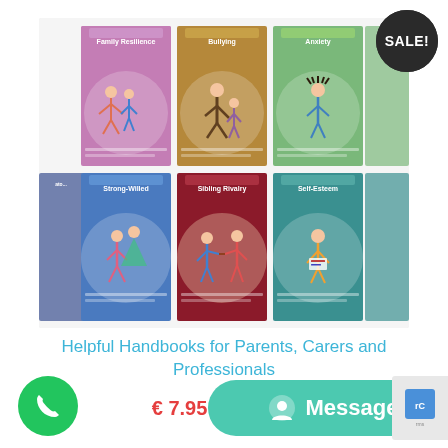[Figure (photo): A collection of colorful children's handbooks displayed in a grid: Family Resilience (purple/pink), Bullying (olive/yellow), Anxiety (light green), Strong-Willed (blue), Sibling Rivalry (dark red), Self-Esteem (teal). Each book has a stick-figure illustration on its cover.]
SALE!
Helpful Handbooks for Parents, Carers and Professionals
€ 7.95 – € 65.00